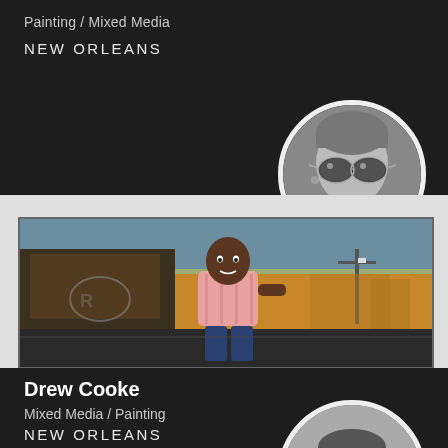Painting / Mixed Media
NEW ORLEANS
[Figure (photo): Black and white circular portrait photo of a person wearing aviator sunglasses, cropped close to face]
[Figure (photo): Painting/artwork showing a Black man in a pink shirt standing in front of a wall with graffiti against an orange and blue sky backdrop, urban setting with utility poles]
Drew Cooke
Mixed Media / Painting
NEW ORLEANS
[Figure (photo): Black and white circular portrait photo of Drew Cooke, partially visible at bottom of page]